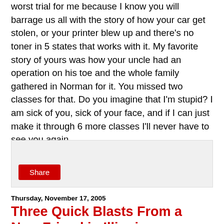worst trial for me because I know you will barrage us all with the story of how your car get stolen, or your printer blew up and there's no toner in 5 states that works with it. My favorite story of yours was how your uncle had an operation on his toe and the whole family gathered in Norman for it. You missed two classes for that. Do you imagine that I'm stupid? I am sick of you, sick of your face, and if I can just make it through 6 more classes I'll never have to see you again.
[Figure (other): Grey share box with a red Share button]
Thursday, November 17, 2005
Three Quick Blasts From a New Friend in Illinois.
A full professor at a public university in Chicago says:
Here are mine. Add them to the bunch, and color me as a bad guy, too, if that's what's required.